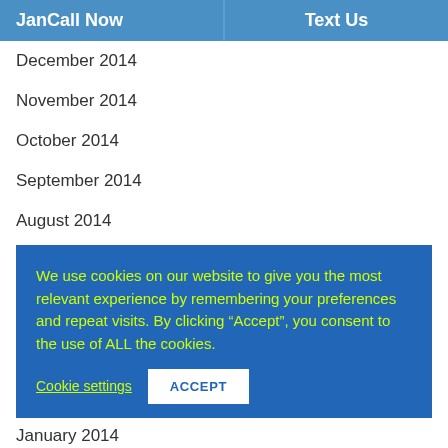Call Now | Text Us
December 2014
November 2014
October 2014
September 2014
August 2014
We use cookies on our website to give you the most relevant experience by remembering your preferences and repeat visits. By clicking “Accept”, you consent to the use of ALL the cookies.
Cookie settings | ACCEPT
January 2014